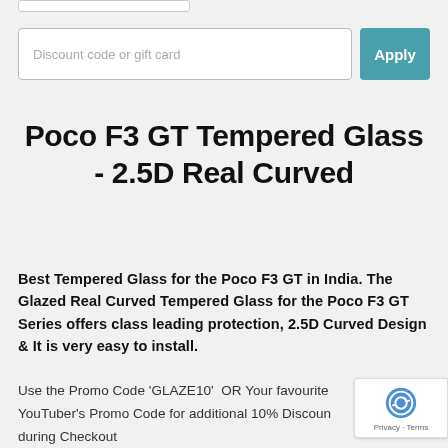Discount code or gift card
Poco F3 GT Tempered Glass - 2.5D Real Curved
Best Tempered Glass for the Poco F3 GT in India. The Glazed Real Curved Tempered Glass for the Poco F3 GT Series offers class leading protection, 2.5D Curved Design & It is very easy to install.
Use the Promo Code 'GLAZE10'  OR Your favourite YouTuber's Promo Code for additional 10% Discount during Checkout